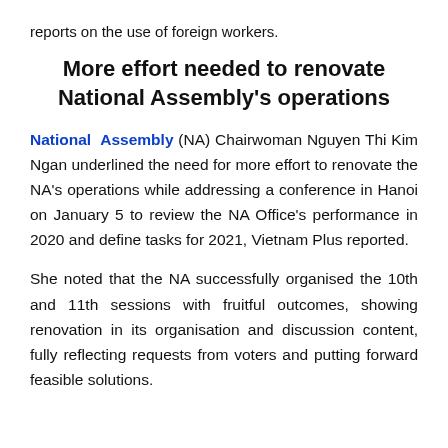reports on the use of foreign workers.
More effort needed to renovate National Assembly's operations
National Assembly (NA) Chairwoman Nguyen Thi Kim Ngan underlined the need for more effort to renovate the NA's operations while addressing a conference in Hanoi on January 5 to review the NA Office's performance in 2020 and define tasks for 2021, Vietnam Plus reported.
She noted that the NA successfully organised the 10th and 11th sessions with fruitful outcomes, showing renovation in its organisation and discussion content, fully reflecting requests from voters and putting forward feasible solutions.